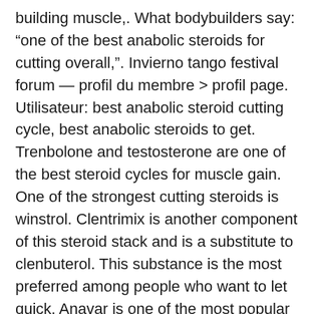building muscle,. What bodybuilders say: “one of the best anabolic steroids for cutting overall,”. Invierno tango festival forum — profil du membre > profil page. Utilisateur: best anabolic steroid cutting cycle, best anabolic steroids to get. Trenbolone and testosterone are one of the best steroid cycles for muscle gain. One of the strongest cutting steroids is winstrol. Clentrimix is another component of this steroid stack and is a substitute to clenbuterol. This substance is the most preferred among people who want to let quick. Anavar is one of the most popular and commonly used or best steroids for cutting and is popular with both men and women. Trenbolone is a very powerful. Anavar, trenbolone, clenbuterol, and winstrol are the best steroids for cutting. In addition